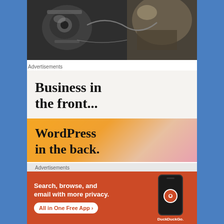[Figure (photo): Photograph of mechanical machinery/engine parts, dark industrial scene with metallic components]
Advertisements
[Figure (infographic): Advertisement: 'Business in the front...' on light beige background followed by 'WordPress in the back.' on orange gradient background]
Advertisements
[Figure (infographic): DuckDuckGo advertisement with orange/red background. Text: 'Search, browse, and email with more privacy. All in One Free App' with phone graphic and DuckDuckGo logo]